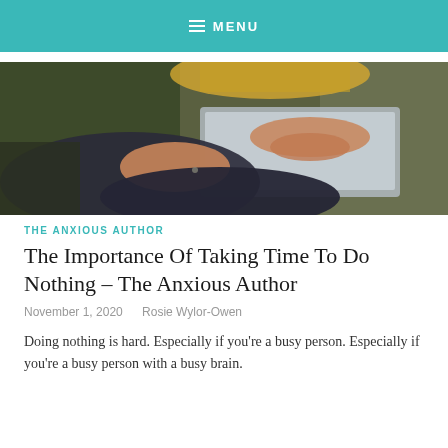≡ MENU
[Figure (photo): A woman in a dark speckled dress sitting and using a laptop computer, photographed from above/side angle with blurred background.]
THE ANXIOUS AUTHOR
The Importance Of Taking Time To Do Nothing – The Anxious Author
November 1, 2020   Rosie Wylor-Owen
Doing nothing is hard. Especially if you're a busy person. Especially if you're a busy person with a busy brain.